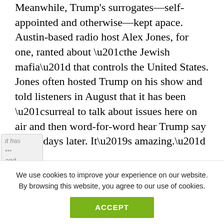Meanwhile, Trump's surrogates—self-appointed and otherwise—kept apace. Austin-based radio host Alex Jones, for one, ranted about “the Jewish mafia” that controls the United States. Jones often hosted Trump on his show and told listeners in August that it has been “surreal to talk about issues here on air and then word-for-word hear Trump say it two days later. It’s amazing.”
[Figure (illustration): Row of five social media share icons: Facebook (dark blue), Twitter (light blue), Pinterest (red), LinkedIn (dark teal), Telegram (light blue)]
We use cookies to improve your experience on our website. By browsing this website, you agree to our use of cookies.
ACCEPT